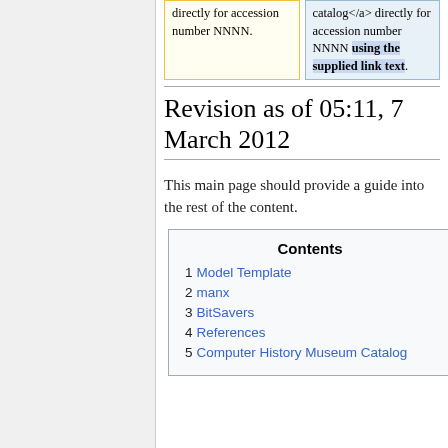| directly for accession number NNNN. | catalog</a> directly for accession number NNNN using the supplied link text. |
Revision as of 05:11, 7 March 2012
This main page should provide a guide into the rest of the content.
| Contents |
| --- |
| 1 | Model Template |
| 2 | manx |
| 3 | BitSavers |
| 4 | References |
| 5 | Computer History Museum Catalog |